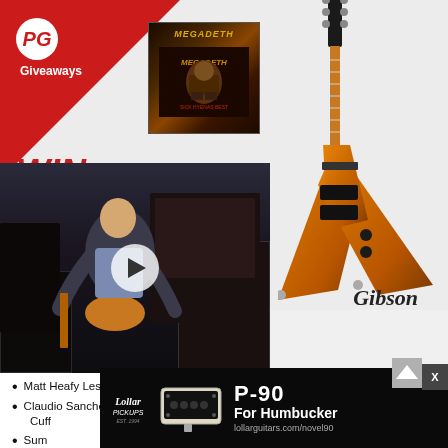[Figure (infographic): PG Giveaways banner with red triangle, PG logo, Megadeth album cover, flying V Gibson guitar graphic, WIN text, video thumbnail of guitarist, Gibson script logo]
Matt Heafy Les Paul™ Custom Origins Giveaway
Claudio Sanchez Signature Anna Pedal Giveaway from Wren & Cuff
Sum ... nix!
Oran...
[Figure (infographic): Lollar Pickups advertisement: black background with Lollar logo, P-90 humbucker pickup photo, text P-90 For Humbucker lollarguitars.com/novel90]